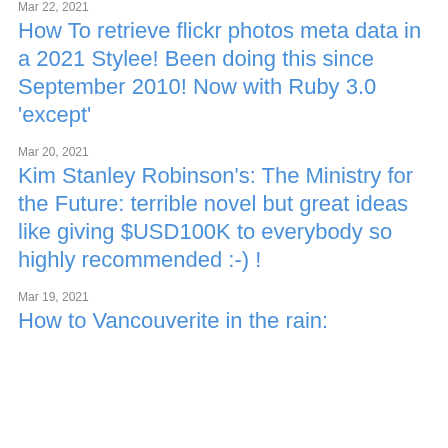Mar 22, 2021
How To retrieve flickr photos meta data in a 2021 Stylee! Been doing this since September 2010! Now with Ruby 3.0 'except'
Mar 20, 2021
Kim Stanley Robinson's: The Ministry for the Future: terrible novel but great ideas like giving $USD100K to everybody so highly recommended :-) !
Mar 19, 2021
How to Vancouverite in the rain: